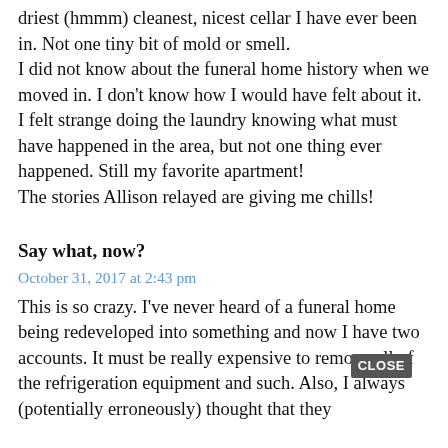driest (hmmm) cleanest, nicest cellar I have ever been in. Not one tiny bit of mold or smell.
I did not know about the funeral home history when we moved in. I don't know how I would have felt about it. I felt strange doing the laundry knowing what must have happened in the area, but not one thing ever happened. Still my favorite apartment!
The stories Allison relayed are giving me chills!
Say what, now?
October 31, 2017 at 2:43 pm
This is so crazy. I've never heard of a funeral home being redeveloped into something and now I have two accounts. It must be really expensive to remove all of the refrigeration equipment and such. Also, I always (potentially erroneously) thought that they